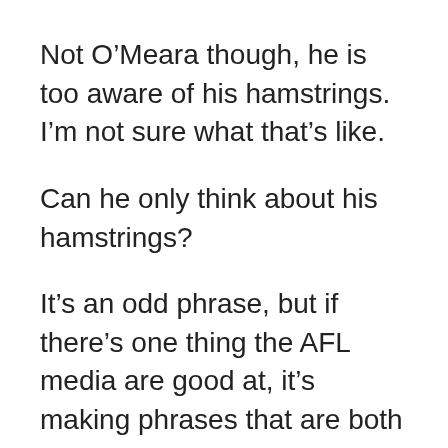Not O’Meara though, he is too aware of his hamstrings. I’m not sure what that’s like.
Can he only think about his hamstrings?
It’s an odd phrase, but if there’s one thing the AFL media are good at, it’s making phrases that are both unhelpful and stupid.
Hawthorn ended their losing streak last week in Tasmania and are now off to Darwin, because where else would you play the Suns?
How the ...